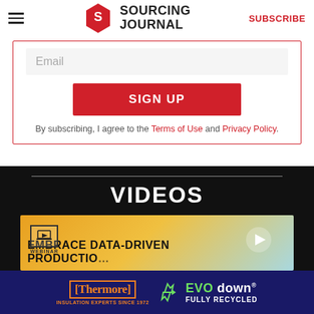Sourcing Journal | SUBSCRIBE
Email
SIGN UP
By subscribing, I agree to the Terms of Use and Privacy Policy.
VIDEOS
[Figure (screenshot): Webinar thumbnail image with orange/gold geometric pattern background and text 'EMBRACE DATA-DRIVEN PRODUCTIO...' with a Sourcing Journal webinar badge and play button overlay]
[Figure (logo): Thermore ad banner: 'Thermore INSULATION EXPERTS SINCE 1972' with EVO down FULLY RECYCLED text on dark navy background]